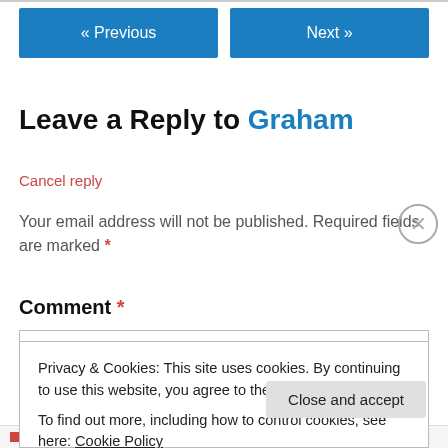« Previous | Next »
Leave a Reply to Graham
Cancel reply
Your email address will not be published. Required fields are marked *
Comment *
Privacy & Cookies: This site uses cookies. By continuing to use this website, you agree to their use.
To find out more, including how to control cookies, see here: Cookie Policy
Close and accept